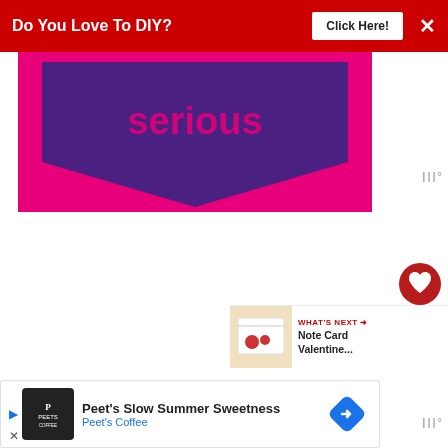[Figure (infographic): Red advertisement banner at top: 'Do You Love To DIY?' with 'Click Here!' button and X close button on dark red background]
[Figure (photo): Bright pink/magenta greeting card or craft project with a dark purple/indigo diamond/chevron shape in the center bearing the word 'serious' in pink text]
[Figure (infographic): Dark red circular heart button (favorite/save) on the right side]
[Figure (infographic): Light gray circular share button with share icon on the right side]
[Figure (infographic): What's Next card showing thumbnail and text 'Note Card Valentine...' with red arrow label]
[Figure (infographic): Bottom advertisement banner for Peet's Coffee: 'Peet's Slow Summer Sweetness' with Peet's Coffee logo and navigation icon]